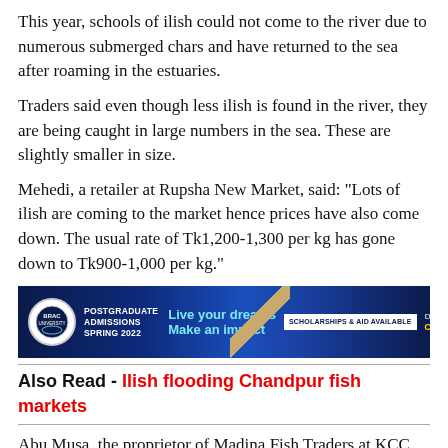This year, schools of ilish could not come to the river due to numerous submerged chars and have returned to the sea after roaming in the estuaries.
Traders said even though less ilish is found in the river, they are being caught in large numbers in the sea. These are slightly smaller in size.
Mehedi, a retailer at Rupsha New Market, said: "Lots of ilish are coming to the market hence prices have also come down. The usual rate of Tk1,200-1,300 per kg has gone down to Tk900-1,000 per kg."
[Figure (other): BRAC University advertisement banner for Postgraduate Admissions Spring 2022. Text: Live your dreams Make an impact. Scholarships & Aid Available. Deadline: 3 January, 2022. Click Here & Apply!]
Also Read - Ilish flooding Chandpur fish markets
Abu Musa, the proprietor of Madina Fish Traders at KCC Rupsha Wholesale Fish Warehouse, said more ilish is coming to the market this year than the last, and the price is also lower.